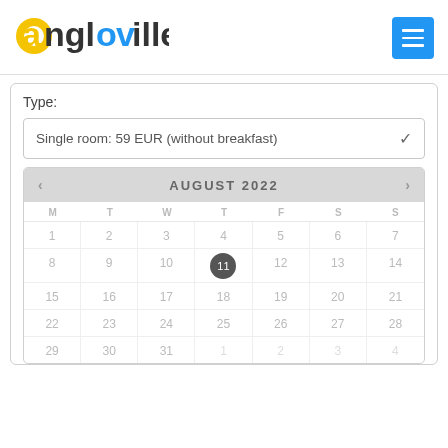[Figure (logo): Angloville logo with yellow 'a', blue 'o' and 'v', dark grey text for the rest]
Type:
Single room: 59 EUR (without breakfast)
[Figure (other): August 2022 calendar with date 11 selected (highlighted with dark circle marker). Days shown: M T W T F S S. Dates 1-31 in August, plus overflow dates 1-4 from next month and 29-31 row at bottom.]